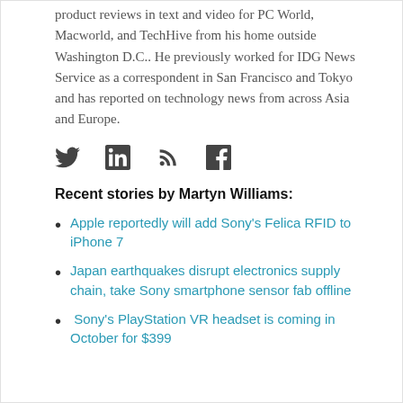product reviews in text and video for PC World, Macworld, and TechHive from his home outside Washington D.C.. He previously worked for IDG News Service as a correspondent in San Francisco and Tokyo and has reported on technology news from across Asia and Europe.
[Figure (infographic): Social media icons: Twitter, LinkedIn, RSS feed, Facebook]
Recent stories by Martyn Williams:
Apple reportedly will add Sony's Felica RFID to iPhone 7
Japan earthquakes disrupt electronics supply chain, take Sony smartphone sensor fab offline
Sony's PlayStation VR headset is coming in October for $399